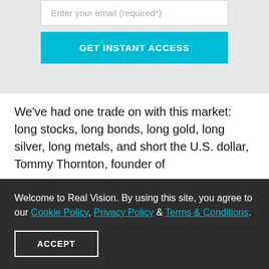Enter your email (required*)
GET INSTANT ACCESS
We've had one trade on with this market: long stocks, long bonds, long gold, long silver, long metals, and short the U.S. dollar, Tommy Thornton, founder of
Welcome to Real Vision. By using this site, you agree to our Cookie Policy, Privacy Policy & Terms & Conditions.
ACCEPT